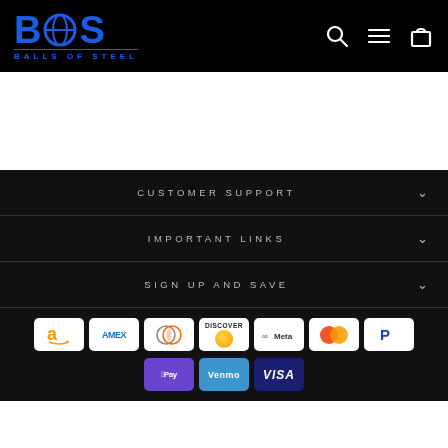[Figure (logo): Balls of Steel logo - blue BOS letters with globe icon, subtitle BALLS OF STEEL on black background]
Header navigation with search, menu, and cart icons
CUSTOMER SUPPORT
IMPORTANT LINKS
SIGN UP AND SAVE
[Figure (infographic): Payment method icons: Amazon, AMEX, Diners Club, Discover, Meta Pay, Mastercard, PayPal, Apple Pay, Venmo, Visa]